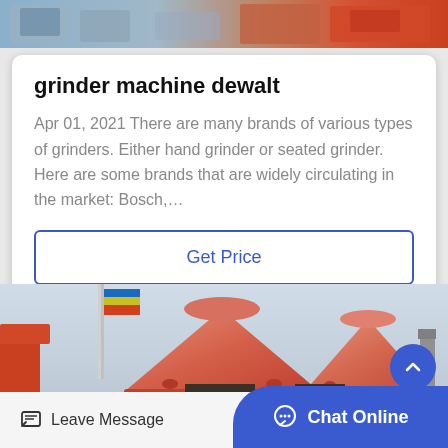[Figure (photo): Top portion of industrial machinery/grinder equipment with blue and orange colors]
grinder machine dewalt
Apr 01, 2021 There are many brands of various types of grinders. Either hand grinder or seated grinder. Here are some brands that are widely circulating in the market: Bosch,…
[Figure (screenshot): Get Price button with blue border]
[Figure (photo): Large orange cone-shaped industrial grinder machines with a flag pole in the background]
Leave Message   Chat Online